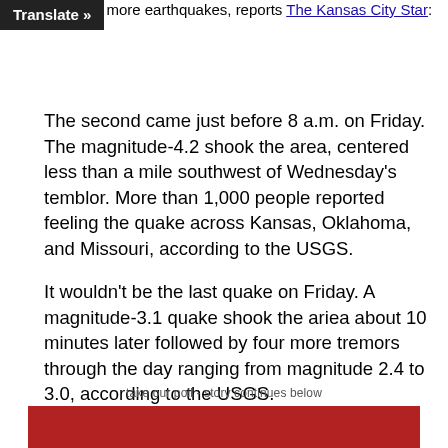more earthquakes, reports The Kansas City Star:
The second came just before 8 a.m. on Friday. The magnitude-4.2 shook the area, centered less than a mile southwest of Wednesday's temblor. More than 1,000 people reported feeling the quake across Kansas, Oklahoma, and Missouri, according to the USGS.
It wouldn't be the last quake on Friday. A magnitude-3.1 quake shook the ariea about 10 minutes later followed by four more tremors through the day ranging from magnitude 2.4 to 3.0, according to the USGS.
take our poll - story continues below